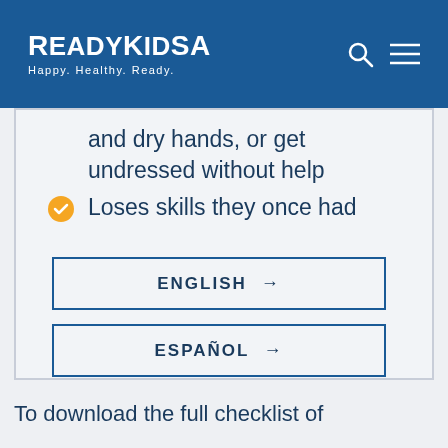ReadyKidSA — Happy. Healthy. Ready.
and dry hands, or get undressed without help
Loses skills they once had
ENGLISH →
ESPAÑOL →
To download the full checklist of